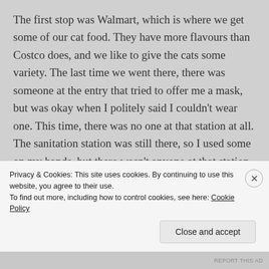The first stop was Walmart, which is where we get some of our cat food. They have more flavours than Costco does, and we like to give the cats some variety. The last time we went there, there was someone at the entry that tried to offer me a mask, but was okay when I politely said I couldn't wear one. This time, there was no one at that station at all. The sanitation station was still there, so I used some on my hands, but there wasn't anyone at that station, either. Almost everyone in the store had masks, though I did see a few without. I might have gotten some startled looks from other customers,
Privacy & Cookies: This site uses cookies. By continuing to use this website, you agree to their use.
To find out more, including how to control cookies, see here: Cookie Policy
Close and accept
REPORT THIS AD